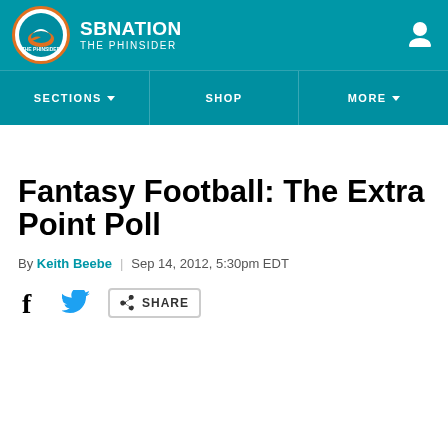SB NATION | THE PHINSIDER
Fantasy Football: The Extra Point Poll
By Keith Beebe | Sep 14, 2012, 5:30pm EDT
SHARE